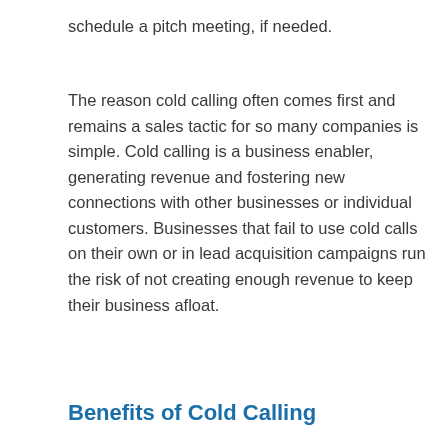schedule a pitch meeting, if needed.
The reason cold calling often comes first and remains a sales tactic for so many companies is simple. Cold calling is a business enabler, generating revenue and fostering new connections with other businesses or individual customers. Businesses that fail to use cold calls on their own or in lead acquisition campaigns run the risk of not creating enough revenue to keep their business afloat.
Benefits of Cold Calling